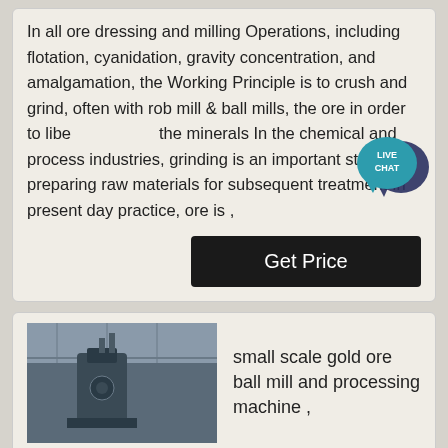In all ore dressing and milling Operations, including flotation, cyanidation, gravity concentration, and amalgamation, the Working Principle is to crush and grind, often with rob mill & ball mills, the ore in order to liberate the minerals In the chemical and process industries, grinding is an important step in preparing raw materials for subsequent treatment In present day practice, ore is ,
[Figure (other): Live Chat bubble icon in teal/blue]
Get Price
[Figure (photo): Photo of industrial ball mill machinery in a factory setting]
small scale gold ore ball mill and processing machine ,
small scale gold ore ball mill and processing machine Efficient Thickener Efficient Thickener Hydraulic Motor Driving Center Thickener Hydraulic Motor Driving Center Thickener Grid Type Ball Mill Grid Type Ball Mill